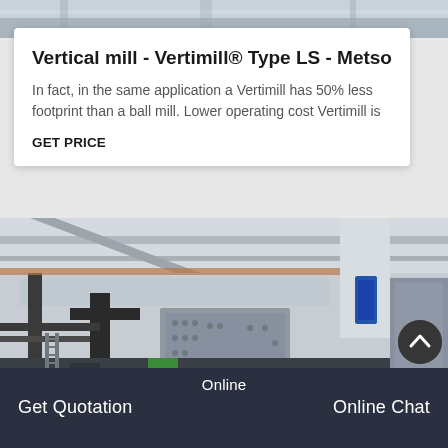[Figure (photo): Top strip showing industrial machinery background, partial view]
Vertical mill - Vertimill® Type LS - Metso C
In fact, in the same application a Vertimill has 50% less footprint than a ball mill. Lower operating cost Vertimill is
GET PRICE
[Figure (photo): Industrial factory interior showing large mining/milling machinery with conveyor structures, steel beams, and heavy equipment]
Online
Get Quotation
Online Chat